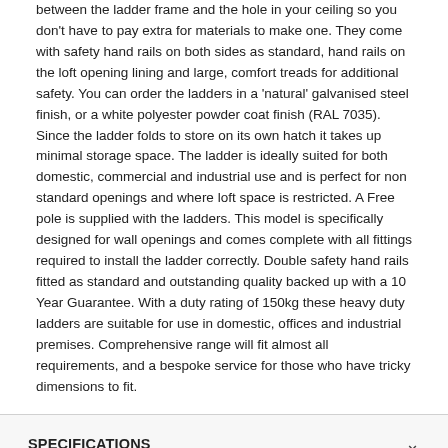between the ladder frame and the hole in your ceiling so you don't have to pay extra for materials to make one. They come with safety hand rails on both sides as standard, hand rails on the loft opening lining and large, comfort treads for additional safety. You can order the ladders in a 'natural' galvanised steel finish, or a white polyester powder coat finish (RAL 7035). Since the ladder folds to store on its own hatch it takes up minimal storage space. The ladder is ideally suited for both domestic, commercial and industrial use and is perfect for non standard openings and where loft space is restricted. A Free pole is supplied with the ladders. This model is specifically designed for wall openings and comes complete with all fittings required to install the ladder correctly. Double safety hand rails fitted as standard and outstanding quality backed up with a 10 Year Guarantee. With a duty rating of 150kg these heavy duty ladders are suitable for use in domestic, offices and industrial premises. Comprehensive range will fit almost all requirements, and a bespoke service for those who have tricky dimensions to fit.
SPECIFICATIONS
REVIEWS
DELIVERY & RETURNS